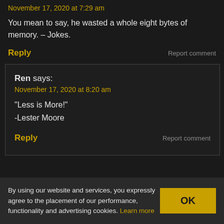November 17, 2020 at 7:29 am
You mean to say, he wasted a whole eight bytes of memory. – Jokes.
Reply
Report comment
Ren says:
November 17, 2020 at 8:20 am
“Less is More!”
-Lester Moore
Reply
Report comment
By using our website and services, you expressly agree to the placement of our performance, functionality and advertising cookies. Learn more